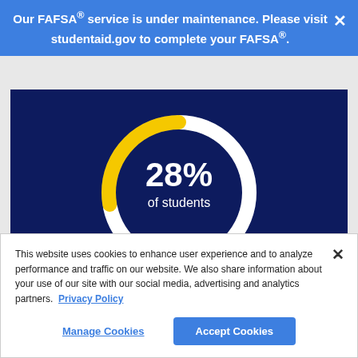Our FAFSA® service is under maintenance. Please visit studentaid.gov to complete your FAFSA®.
[Figure (donut-chart): Donut chart showing 28% of students, dark navy background, white ring with yellow segment indicating 28%]
of students
This website uses cookies to enhance user experience and to analyze performance and traffic on our website. We also share information about your use of our site with our social media, advertising and analytics partners. Privacy Policy
Manage Cookies
Accept Cookies